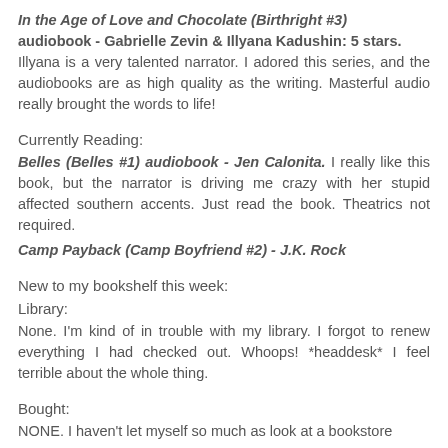In the Age of Love and Chocolate (Birthright #3) audiobook - Gabrielle Zevin & Illyana Kadushin: 5 stars. Illyana is a very talented narrator. I adored this series, and the audiobooks are as high quality as the writing. Masterful audio really brought the words to life!
Currently Reading:
Belles (Belles #1) audiobook - Jen Calonita. I really like this book, but the narrator is driving me crazy with her stupid affected southern accents. Just read the book. Theatrics not required.
Camp Payback (Camp Boyfriend #2) - J.K. Rock
New to my bookshelf this week:
Library:
None. I'm kind of in trouble with my library. I forgot to renew everything I had checked out. Whoops! *headdesk* I feel terrible about the whole thing.
Bought:
NONE. I haven't let myself so much as look at a bookstore